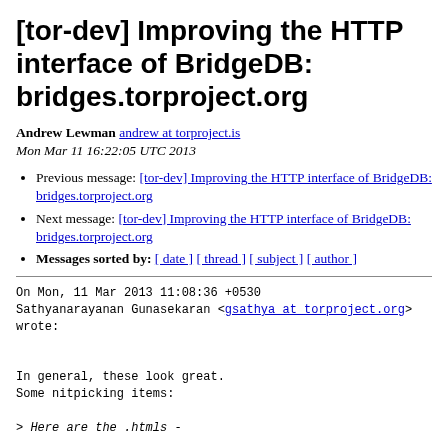[tor-dev] Improving the HTTP interface of BridgeDB: bridges.torproject.org
Andrew Lewman andrew at torproject.is
Mon Mar 11 16:22:05 UTC 2013
Previous message: [tor-dev] Improving the HTTP interface of BridgeDB: bridges.torproject.org
Next message: [tor-dev] Improving the HTTP interface of BridgeDB: bridges.torproject.org
Messages sorted by: [ date ] [ thread ] [ subject ] [ author ]
On Mon, 11 Mar 2013 11:08:36 +0530
Sathyanarayanan Gunasekaran <gsathya at torproject.org>
wrote:


In general, these look great.
Some nitpicking items:

> Here are the .htmls -